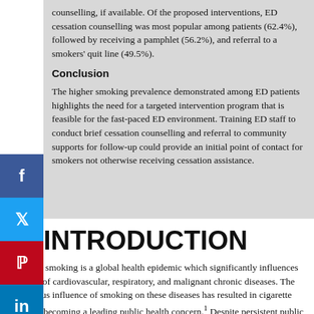counselling, if available. Of the proposed interventions, ED cessation counselling was most popular among patients (62.4%), followed by receiving a pamphlet (56.2%), and referral to a smokers' quit line (49.5%).
Conclusion
The higher smoking prevalence demonstrated among ED patients highlights the need for a targeted intervention program that is feasible for the fast-paced ED environment. Training ED staff to conduct brief cessation counselling and referral to community supports for follow-up could provide an initial point of contact for smokers not otherwise receiving cessation assistance.
INTRODUCTION
Cigarette smoking is a global health epidemic which significantly influences the rates of cardiovascular, respiratory, and malignant chronic diseases. The deleterious influence of smoking on these diseases has resulted in cigarette smoking becoming a leading public health concern.¹ Despite persistent public health campaigns addressing smoking cessation over the past few decades, the daily cigarette smoking prevalence in the Canadian population was